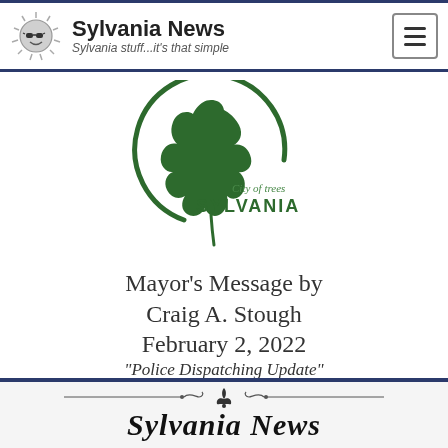Sylvania News — Sylvania stuff...it's that simple
[Figure (logo): City of Trees Sylvania logo — green oak leaf with a circular arc, text 'City of trees SYLVANIA']
Mayor's Message by Craig A. Stough February 2, 2022
"Police Dispatching Update"
(read the last Mayor's Message)
[Figure (illustration): Decorative ornamental divider and partial 'Sylvania News' heading at bottom of page]